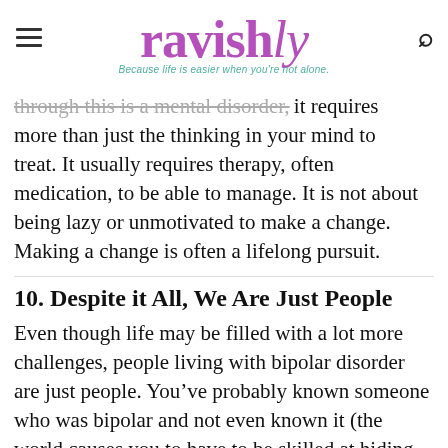ravishly — Because life is easier when you're not alone.
...through this is a mental disorder, it requires more than just the thinking in your mind to treat. It usually requires therapy, often medication, to be able to manage. It is not about being lazy or unmotivated to make a change. Making a change is often a lifelong pursuit.
10. Despite it All, We Are Just People
Even though life may be filled with a lot more challenges, people living with bipolar disorder are just people. You've probably known someone who was bipolar and not even known it (the world causes you to have to be skilled at hiding your symptoms). At the end of the day, the...